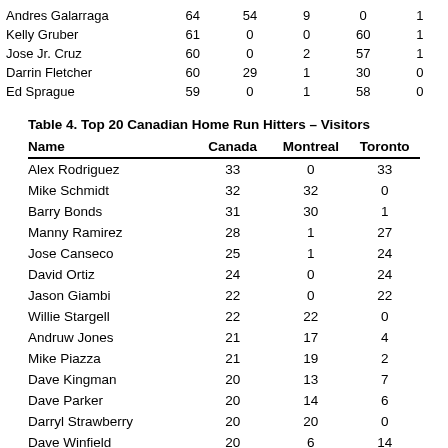| Name |  |  |  |  |  |
| --- | --- | --- | --- | --- | --- |
| Andres Galarraga | 64 | 54 | 9 | 0 | 1 |
| Kelly Gruber | 61 | 0 | 0 | 60 | 1 |
| Jose Jr. Cruz | 60 | 0 | 2 | 57 | 1 |
| Darrin Fletcher | 60 | 29 | 1 | 30 | 0 |
| Ed Sprague | 59 | 0 | 1 | 58 | 0 |
Table 4. Top 20 Canadian Home Run Hitters – Visitors
| Name | Canada | Montreal | Toronto |
| --- | --- | --- | --- |
| Alex Rodriguez | 33 | 0 | 33 |
| Mike Schmidt | 32 | 32 | 0 |
| Barry Bonds | 31 | 30 | 1 |
| Manny Ramirez | 28 | 1 | 27 |
| Jose Canseco | 25 | 1 | 24 |
| David Ortiz | 24 | 0 | 24 |
| Jason Giambi | 22 | 0 | 22 |
| Willie Stargell | 22 | 22 | 0 |
| Andruw Jones | 21 | 17 | 4 |
| Mike Piazza | 21 | 19 | 2 |
| Dave Kingman | 20 | 13 | 7 |
| Dave Parker | 20 | 14 | 6 |
| Darryl Strawberry | 20 | 20 | 0 |
| Dave Winfield | 20 | 6 | 14 |